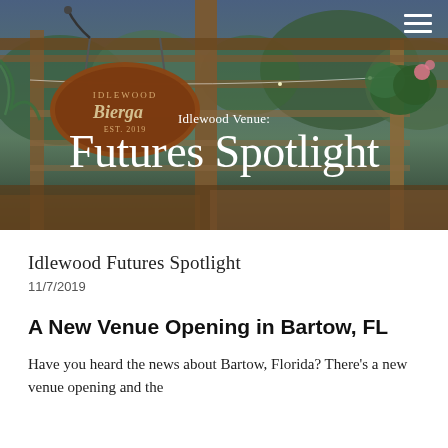[Figure (photo): Outdoor photo of Idlewood Biergarten venue at dusk, showing a wooden pergola structure, hanging sign with 'Idlewood Biergarten Est. 2019', and lush green plants in the background.]
Idlewood Venue:
Futures Spotlight
Idlewood Futures Spotlight
11/7/2019
A New Venue Opening in Bartow, FL
Have you heard the news about Bartow, Florida? There's a new venue opening and the...